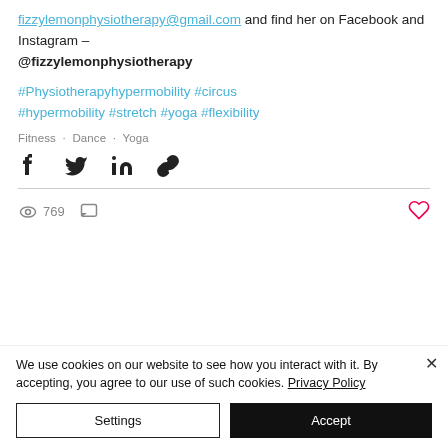fizzylemonphysiotherapy@gmail.com and find her on Facebook and Instagram – @fizzylemonphysiotherapy
#Physiotherapyhypermobility #circus #hypermobility #stretch #yoga #flexibility
Fitness · Dance · Yoga
[Figure (infographic): Social share icons: Facebook, Twitter, LinkedIn, link]
[Figure (infographic): Stats row: eye icon with 769 views, comment icon, heart/like icon on the right]
We use cookies on our website to see how you interact with it. By accepting, you agree to our use of such cookies. Privacy Policy
Settings | Accept